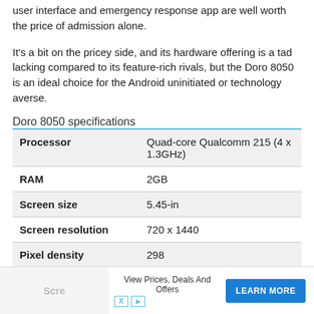user interface and emergency response app are well worth the price of admission alone.
It's a bit on the pricey side, and its hardware offering is a tad lacking compared to its feature-rich rivals, but the Doro 8050 is an ideal choice for the Android uninitiated or technology averse.
Doro 8050 specifications
|  |  |
| --- | --- |
| Processor | Quad-core Qualcomm 215 (4 x 1.3GHz) |
| RAM | 2GB |
| Screen size | 5.45-in |
| Screen resolution | 720 x 1440 |
| Pixel density | 298 |
| Screen type | IPS LCD |